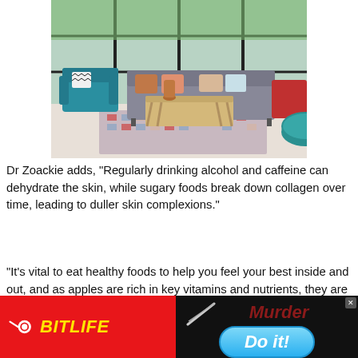[Figure (photo): A modern living room with a grey sofa, teal armchair, patterned rug, wooden coffee table, large windows, and teal pouf.]
Dr Zoackie adds, "Regularly drinking alcohol and caffeine can dehydrate the skin, while sugary foods break down collagen over time, leading to duller skin complexions."
"It's vital to eat healthy foods to help you feel your best inside and out, and as apples are rich in key vitamins and nutrients, they are a simple, affordable way to ensure your skin feels its very best at all times."
[Figure (advertisement): BitLife app ad on red background with yellow BitLife logo on left, and Murder / Do it! game prompt on black background on right with blue Do it! button.]